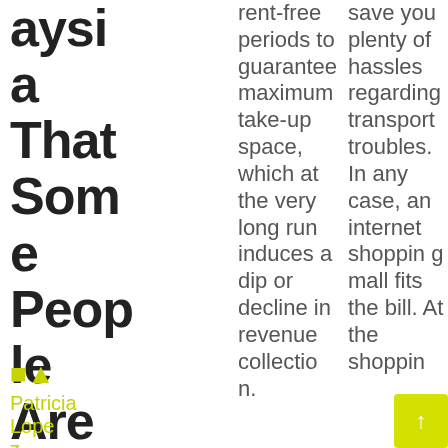aysia That Some People Aren't Aware Of
rent-free periods to guarantee maximum take-up space, which at the very long run induces a dip or decline in revenue collection.
save you plenty of hassles regarding transport troubles. In any case, an internet shopping mall fits the bill. At the shoppin
Patricia Lopez